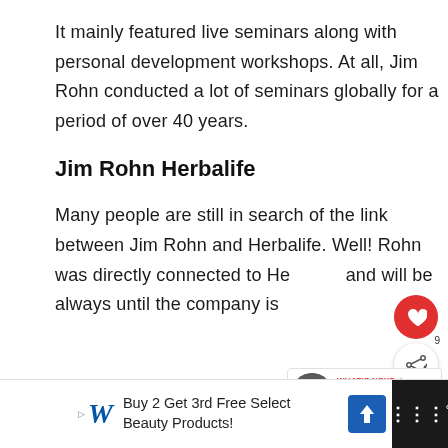It mainly featured live seminars along with personal development workshops. At all, Jim Rohn conducted a lot of seminars globally for a period of over 40 years.
Jim Rohn Herbalife
Many people are still in search of the link between Jim Rohn and Herbalife. Well! Rohn was directly connected to He[rbalife] and will be always until the company is [alive]
[Figure (other): Social media sidebar with heart/like button (red circle) and share button with count of 9]
[Figure (other): What's Next widget showing Jim Wahlberg Biography thumbnail]
[Figure (other): Advertisement banner: Buy 2 Get 3rd Free Select Beauty Products! Walgreens ad]